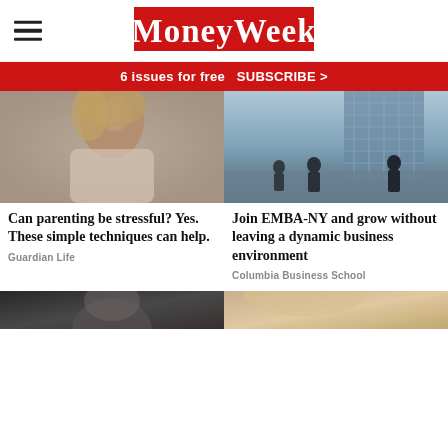MoneyWeek
6 issues for free  SUBSCRIBE >
[Figure (photo): Woman with eyes closed, meditating or relaxing, blurred background]
Can parenting be stressful? Yes. These simple techniques can help.
Guardian Life
[Figure (photo): People standing in front of large glass windows of a tall city building, business environment]
Join EMBA-NY and grow without leaving a dynamic business environment
Columbia Business School
[Figure (photo): Partially visible image at bottom left, appears to be a person]
[Figure (photo): Partially visible image at bottom right, appears to show a light-colored subject]